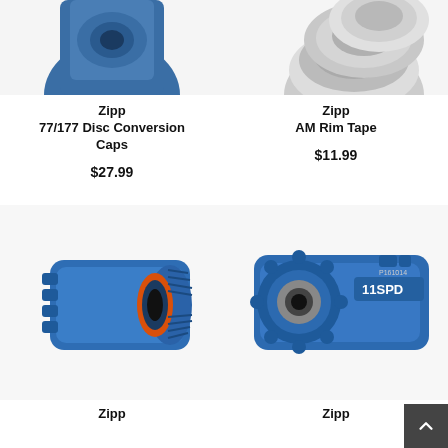[Figure (photo): Blue Zipp 77/177 Disc Conversion Caps component, partially visible at top]
Zipp
77/177 Disc Conversion Caps
$27.99
[Figure (photo): Zipp AM Rim Tape rolls, partially visible at top]
Zipp
AM Rim Tape
$11.99
[Figure (photo): Blue Zipp freehub body component with orange bearing ring]
Zipp
[Figure (photo): Blue Zipp 11SPD freehub body with P161014 label and bearing]
Zipp